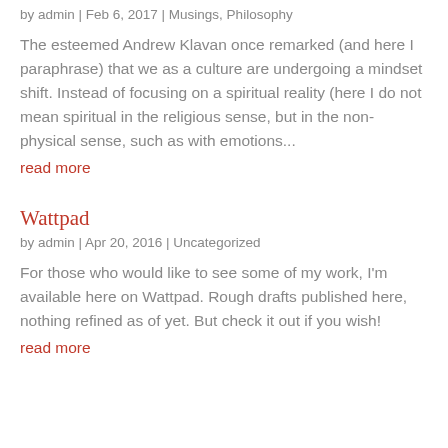by admin | Feb 6, 2017 | Musings, Philosophy
The esteemed Andrew Klavan once remarked (and here I paraphrase) that we as a culture are undergoing a mindset shift. Instead of focusing on a spiritual reality (here I do not mean spiritual in the religious sense, but in the non-physical sense, such as with emotions...
read more
Wattpad
by admin | Apr 20, 2016 | Uncategorized
For those who would like to see some of my work, I'm available here on Wattpad. Rough drafts published here, nothing refined as of yet. But check it out if you wish!
read more